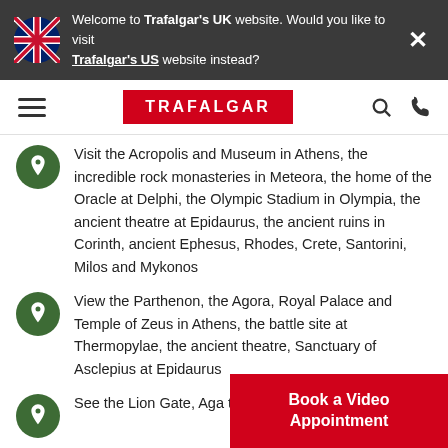Welcome to Trafalgar's UK website. Would you like to visit Trafalgar's US website instead?
[Figure (logo): Trafalgar logo in red rectangular background with white uppercase text]
Visit the Acropolis and Museum in Athens, the incredible rock monasteries in Meteora, the home of the Oracle at Delphi, the Olympic Stadium in Olympia, the ancient theatre at Epidaurus, the ancient ruins in Corinth, ancient Ephesus, Rhodes, Crete, Santorini, Milos and Mykonos
View the Parthenon, the Agora, Royal Palace and Temple of Zeus in Athens, the battle site at Thermopylae, the ancient theatre, Sanctuary of Asclepius at Epidaurus
See the Lion Gate, Aga... the Corinth Canal
Book a Video Appointment